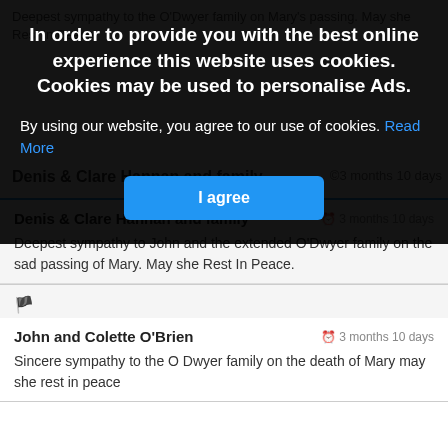Deepest sympathy to the O'Dwyer family on Mary's passing. May she Rest In Peace.
[Figure (screenshot): Cookie consent overlay with dark background. Title: 'In order to provide you with the best online experience this website uses cookies. Cookies may be used to personalise Ads.' Body text: 'By using our website, you agree to our use of cookies. Read More' and a blue 'I agree' button.]
Denis & Clare Hannan and family
3 months 10 days
Deepest sympathy to John and the extended O'Dwyer family on the sad passing of Mary. May she Rest In Peace.
John and Colette O'Brien
3 months 10 days
Sincere sympathy to the O Dwyer family on the death of Mary may she rest in peace